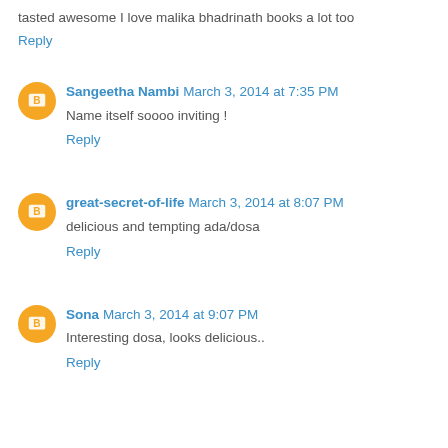tasted awesome I love malika bhadrinath books a lot too
Reply
Sangeetha Nambi March 3, 2014 at 7:35 PM
Name itself soooo inviting !
Reply
great-secret-of-life March 3, 2014 at 8:07 PM
delicious and tempting ada/dosa
Reply
Sona March 3, 2014 at 9:07 PM
Interesting dosa, looks delicious..
Reply